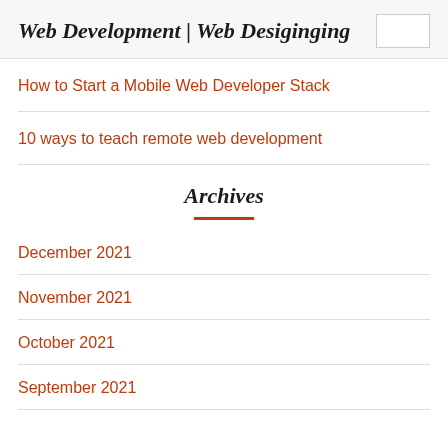Web Development | Web Desiginging
How to Start a Mobile Web Developer Stack
10 ways to teach remote web development
Archives
December 2021
November 2021
October 2021
September 2021